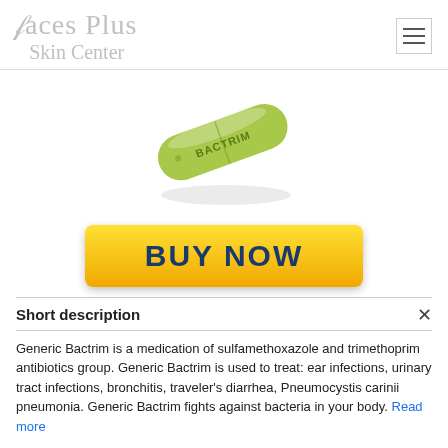[Figure (logo): Faces Plus Skin Center logo in cursive gray text]
[Figure (photo): Green Bactrim pill/capsule with BACTRIM text engraved on it]
[Figure (other): Yellow BUY NOW button]
Short description
Generic Bactrim is a medication of sulfamethoxazole and trimethoprim antibiotics group. Generic Bactrim is used to treat: ear infections, urinary tract infections, bronchitis, traveler's diarrhea, Pneumocystis carinii pneumonia. Generic Bactrim fights against bacteria in your body. Read more